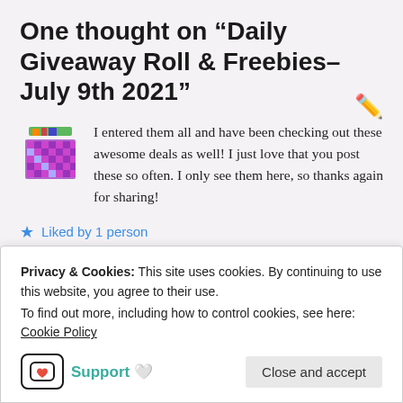One thought on “Daily Giveaway Roll & Freebies– July 9th 2021”
I entered them all and have been checking out these awesome deals as well! I just love that you post these so often. I only see them here, so thanks again for sharing!
Liked by 1 person
Lauryn R , July 9, 2021 at 12:44 pm
Privacy & Cookies: This site uses cookies. By continuing to use this website, you agree to their use. To find out more, including how to control cookies, see here: Cookie Policy
Support 🤍
Close and accept